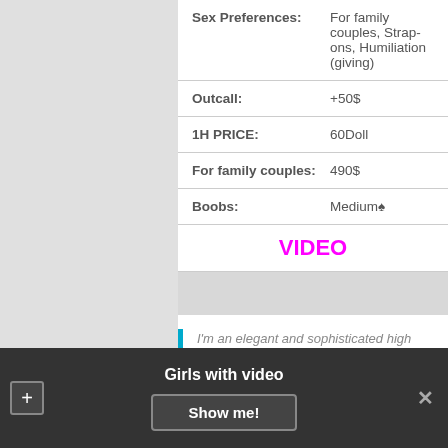| Field | Value |
| --- | --- |
| Sex Preferences: | For family couples, Strap-ons, Humiliation (giving) |
| Outcall: | +50$ |
| 1H PRICE: | 60Doll |
| For family couples: | 490$ |
| Boobs: | Medium♠ |
|  | VIDEO |
I'm an elegant and sophisticated high class companion,I know the meaning of being discreet and how to make a lasting impression
Girls with video  Show me!